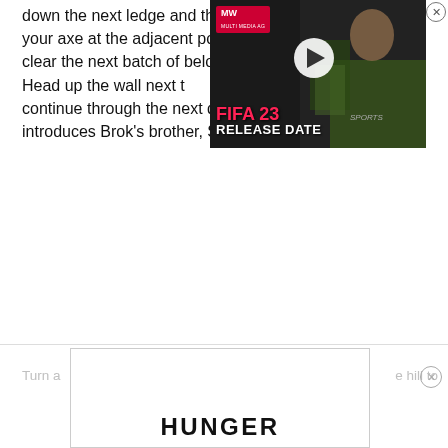down the next ledge and throw your axe at the adjacent post to clear the next batch of below. Head up the wall next t continue through the next doo introduces Brok's brother, Sin
[Figure (screenshot): Video player overlay ad for FIFA 23 Release Date featuring a soccer player, with MW logo, play button, and pink/white text reading FIFA 23 RELEASE DATE on dark background]
Turn a e hill to
[Figure (screenshot): Advertisement banner showing the word HUNGER in bold black letters at the bottom]